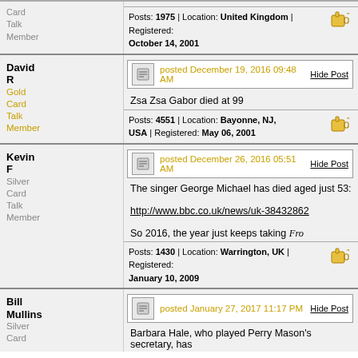Posts: 1975 | Location: United Kingdom | Registered: October 14, 2001
David R
Gold Card Talk Member
posted December 19, 2016 09:48 AM
Hide Post
Zsa Zsa Gabor died at 99
Posts: 4551 | Location: Bayonne, NJ, USA | Registered: May 06, 2001
Kevin F
Silver Card Talk Member
posted December 26, 2016 05:51 AM
Hide Post
The singer George Michael has died aged just 53:
http://www.bbc.co.uk/news/uk-38432862
So 2016, the year just keeps taking Fro
Posts: 1430 | Location: Warrington, UK | Registered: January 10, 2009
Bill Mullins
Silver Card
posted January 27, 2017 11:17 PM
Hide Post
Barbara Hale, who played Perry Mason's secretary, has